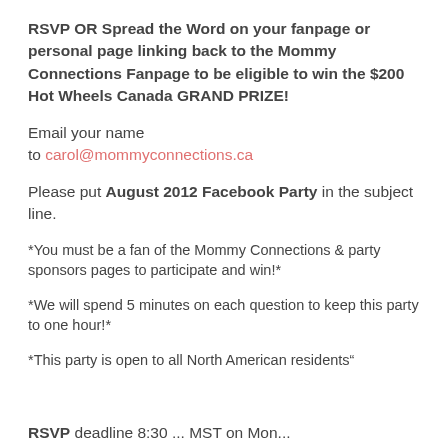RSVP OR Spread the Word on your fanpage or personal page linking back to the Mommy Connections Fanpage to be eligible to win the $200 Hot Wheels Canada GRAND PRIZE!
Email your name
to carol@mommyconnections.ca
Please put August 2012 Facebook Party in the subject line.
*You must be a fan of the Mommy Connections & party sponsors pages to participate and win!*
*We will spend 5 minutes on each question to keep this party to one hour!*
*This party is open to all North American residents"
RSVP deadline 8:30 ... MST on Mon...